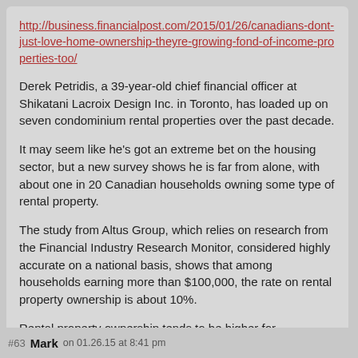http://business.financialpost.com/2015/01/26/canadians-dont-just-love-home-ownership-theyre-growing-fond-of-income-properties-too/
Derek Petridis, a 39-year-old chief financial officer at Shikatani Lacroix Design Inc. in Toronto, has loaded up on seven condominium rental properties over the past decade.
It may seem like he's got an extreme bet on the housing sector, but a new survey shows he is far from alone, with about one in 20 Canadian households owning some type of rental property.
The study from Altus Group, which relies on research from the Financial Industry Research Monitor, considered highly accurate on a national basis, shows that among households earning more than $100,000, the rate on rental property ownership is about 10%.
Rental property ownership tends to be higher for households with residents under age 50, which the study's authors think may be driven by basement apartments and flats that homeowners are using to pay down their mortgages.
#63  Mark  on 01.26.15 at 8:41 pm